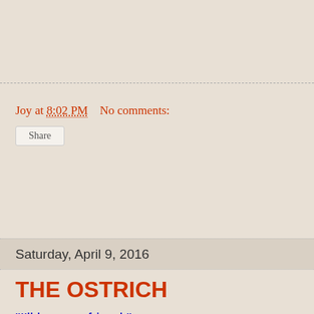Joy at 8:02 PM    No comments:
Share
Saturday, April 9, 2016
THE OSTRICH
"I'll be your friend,"
the ostrich said.
"Come, let us go run."

"Nah!" said Lion
arching his back,
"for me that isn't fun."
A Very Lazy Lion is still looking for a friend.  Ostrich has